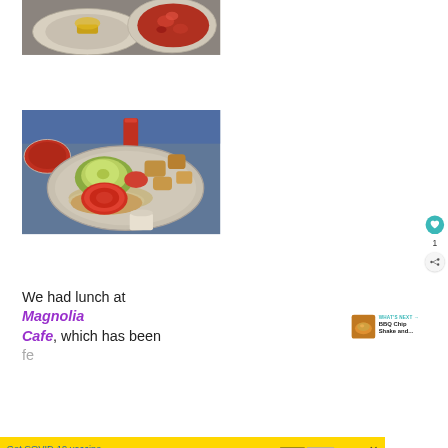[Figure (photo): Photo of food: a white bowl and a bowl of red salsa/tomato sauce on a plate, partially cropped at top]
[Figure (photo): Photo of a plate with an avocado toast sandwich garnished with tomato slices, sprouts, and roasted potatoes, with small side dishes visible in background]
We had lunch at Magnolia Cafe, which has been fe
[Figure (infographic): WHAT'S NEXT arrow label with thumbnail of fried food and text 'BBQ Chip Shake and...']
[Figure (infographic): Advertisement banner: 'Get COVID-19 vaccine answers here.' with ad council and CDC logos, yellow background, close X button]